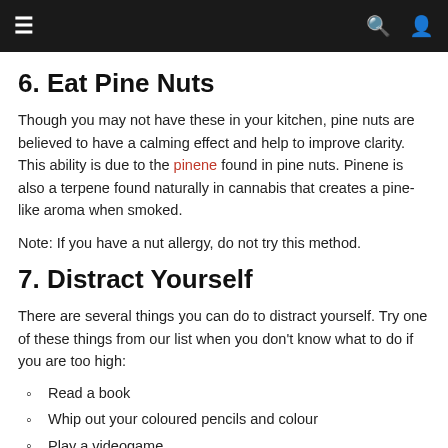navigation bar with menu, search, and user icons
6. Eat Pine Nuts
Though you may not have these in your kitchen, pine nuts are believed to have a calming effect and help to improve clarity. This ability is due to the pinene found in pine nuts. Pinene is also a terpene found naturally in cannabis that creates a pine-like aroma when smoked.
Note: If you have a nut allergy, do not try this method.
7. Distract Yourself
There are several things you can do to distract yourself. Try one of these things from our list when you don't know what to do if you are too high:
Read a book
Whip out your coloured pencils and colour
Play a videogame
Watch inspiring movies, shows, YouTube videos